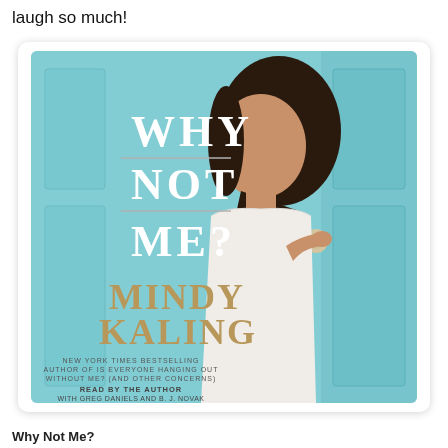laugh so much!
[Figure (illustration): Book cover of 'Why Not Me?' by Mindy Kaling. Light blue background with a woman peeking through a partially open light blue door. Title 'WHY NOT ME?' in large white serif letters with horizontal lines between words. Author name 'MINDY KALING' in gold/tan serif letters. Subtitle text reads: 'New York Times bestselling author of Is Everyone Hanging Out Without Me? (And Other Concerns)'. Below: 'Read by the Author with Greg Daniels and B. J. Novak'. Bottom: 'An Unabridged Production'.]
Why Not Me?